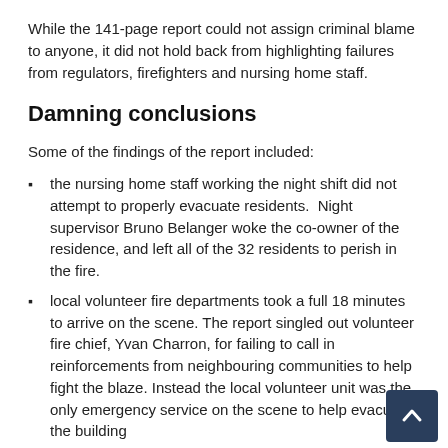While the 141-page report could not assign criminal blame to anyone, it did not hold back from highlighting failures from regulators, firefighters and nursing home staff.
Damning conclusions
Some of the findings of the report included:
the nursing home staff working the night shift did not attempt to properly evacuate residents.  Night supervisor Bruno Belanger woke the co-owner of the residence, and left all of the 32 residents to perish in the fire.
local volunteer fire departments took a full 18 minutes to arrive on the scene. The report singled out volunteer fire chief, Yvan Charron, for failing to call in reinforcements from neighbouring communities to help fight the blaze. Instead the local volunteer unit was the only emergency service on the scene to help evacuate the building
Charron was also made fire chief by being"grandfathered" into the position after serving as a volunteer fire fighting for